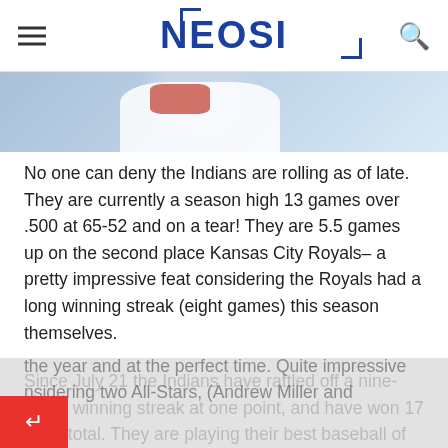NEOSI
[Figure (photo): Partial photo of a Cleveland Indians baseball player in white uniform with red accents, cropped at top of page below navigation bar.]
No one can deny the Indians are rolling as of late. They are currently a season high 13 games over .500 at 65-52 and on a tear!  They are 5.5 games up on the second place Kansas City Royals– a pretty impressive feat considering the Royals had a long winning streak (eight games) this season themselves.
Since July 21 the Indians have rattled off a nine-game winning streak at one point, and have won 17 of 24 total.  They are playing their best baseball of the year and at the perfect time.  Quite impressive considering two All-Stars, (Andrew Miller and